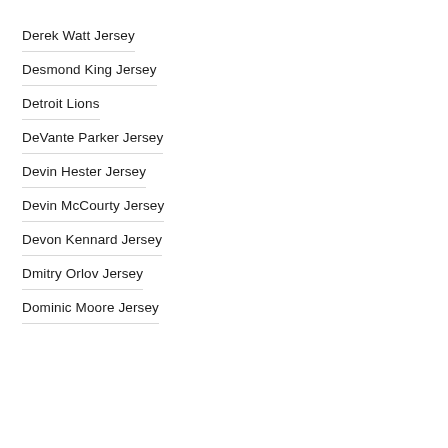Derek Watt Jersey
Desmond King Jersey
Detroit Lions
DeVante Parker Jersey
Devin Hester Jersey
Devin McCourty Jersey
Devon Kennard Jersey
Dmitry Orlov Jersey
Dominic Moore Jersey